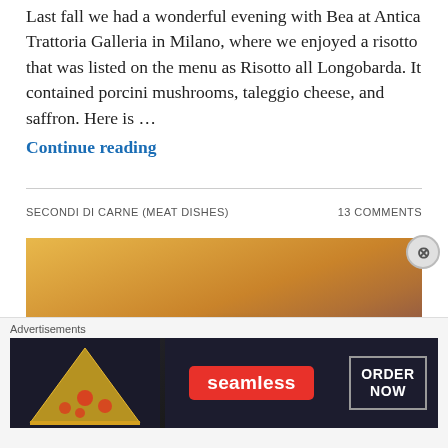Last fall we had a wonderful evening with Bea at Antica Trattoria Galleria in Milano, where we enjoyed a risotto that was listed on the menu as Risotto all Longobarda. It contained porcini mushrooms, taleggio cheese, and saffron. Here is … Continue reading
SECONDI DI CARNE (MEAT DISHES)    13 COMMENTS
[Figure (photo): A cooked meat dish (appears to be a braised or sautéed meat cutlet) sitting on a plate with a golden-orange sauce or puree spread around it.]
Advertisements
[Figure (photo): Seamless food delivery advertisement banner with a pizza image on the left, the red Seamless logo in the center, and an 'ORDER NOW' button on the right, all on a dark background.]